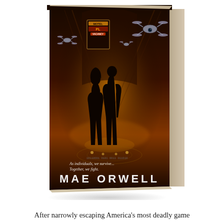[Figure (illustration): 3D rendered book cover for 'Fighters' by Mae Orwell. The cover shows two silhouetted figures (a woman and a man) walking away down a dramatic corridor with a motel sign visible, surveillance drones flying overhead, and warm orange glowing light. Text on cover reads 'As individuals, we survive... Together, we fight.' Author name MAE ORWELL shown at bottom. Book is shown in 3D perspective with visible spine and shadow.]
After narrowly escaping America's most deadly game